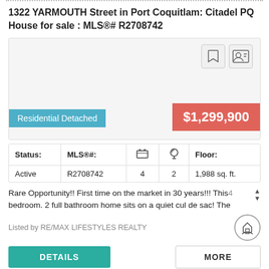1322 YARMOUTH Street in Port Coquitlam: Citadel PQ House for sale : MLS®# R2708742
[Figure (photo): Property listing image box with bookmark and contact icons, a teal 'Residential Detached' badge at bottom-left, and a red '$1,299,900' price badge at bottom-right]
| Status: | MLS®#: | 🛏 | 🚿 | Floor: |
| --- | --- | --- | --- | --- |
| Active | R2708742 | 4 | 2 | 1,988 sq. ft. |
Rare Opportunity!! First time on the market in 30 years!!! This 4 bedroom. 2 full bathroom home sits on a quiet cul de sac! The
Listed by RE/MAX LIFESTYLES REALTY
DETAILS
MORE